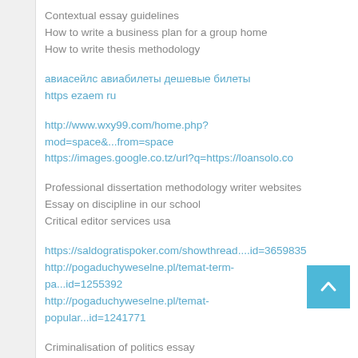Contextual essay guidelines
How to write a business plan for a group home
How to write thesis methodology
авиасейлс авиабилеты дешевые билеты
https ezaem ru
http://www.wxy99.com/home.php?mod=space&...from=space
https://images.google.co.tz/url?q=https://loansolo.co
Professional dissertation methodology writer websites
Essay on discipline in our school
Critical editor services usa
https://saldogratispoker.com/showthread....id=3659835
http://pogaduchyweselne.pl/temat-term-pa...id=1255392
http://pogaduchyweselne.pl/temat-popular...id=1241771
Criminalisation of politics essay